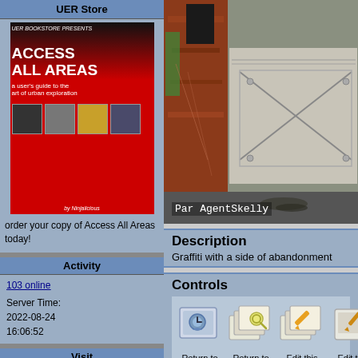UER Store
[Figure (photo): Book cover: Access All Areas - a user's guide to the art of urban exploration]
order your copy of Access All Areas today!
Activity
103 online
Server Time:
2022-08-24
16:06:52
Visit
Infiltration
Access All Areas
AvBrand
[Figure (photo): Photograph of graffiti and abandoned building detail. Text overlay: Par AgentSkelly]
Description
Graffiti with a side of abandonment
Controls
[Figure (infographic): Control icons: Return to Main Location Page, Return to Gallery Overview, Edit this Gallery, Edit this Picture, Un-S... this]
Return to Main Location Page
Return to Gallery Overview
Edit this Gallery
Edit this Picture